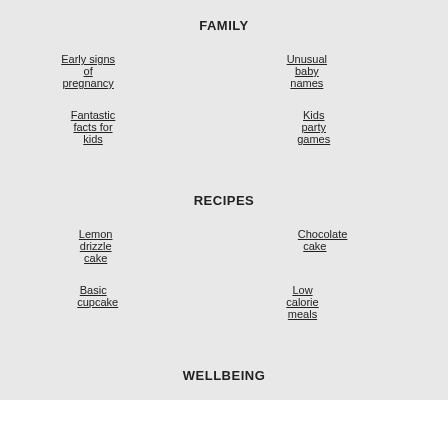FAMILY
Early signs of pregnancy
Unusual baby names
Fantastic facts for kids
Kids party games
RECIPES
Lemon drizzle cake
Chocolate cake
Basic cupcake
Low calorie meals
WELLBEING
Best perfumes of all time
Why am I so tired?
Dream meanings explained
How to stop drinking alcohol